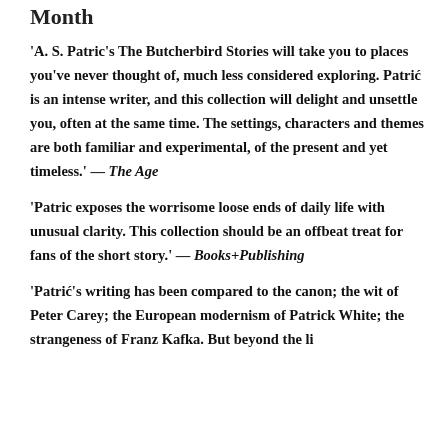Month
'A. S. Patric's The Butcherbird Stories will take you to places you've never thought of, much less considered exploring. Patrić is an intense writer, and this collection will delight and unsettle you, often at the same time. The settings, characters and themes are both familiar and experimental, of the present and yet timeless.' — The Age
'Patric exposes the worrisome loose ends of daily life with unusual clarity. This collection should be an offbeat treat for fans of the short story.' — Books+Publishing
'Patrić's writing has been compared to the canon; the wit of Peter Carey; the European modernism of Patrick White; the strangeness of Franz Kafka. But beyond the li...